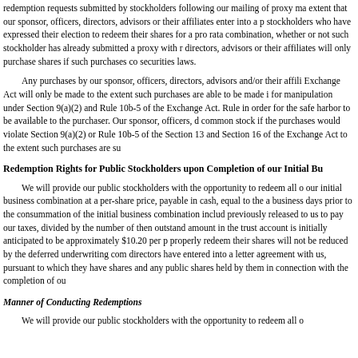redemption requests submitted by stockholders following our mailing of proxy ma extent that our sponsor, officers, directors, advisors or their affiliates enter into a p stockholders who have expressed their election to redeem their shares for a pro rata combination, whether or not such stockholder has already submitted a proxy with r directors, advisors or their affiliates will only purchase shares if such purchases co securities laws.
Any purchases by our sponsor, officers, directors, advisors and/or their affili Exchange Act will only be made to the extent such purchases are able to be made i for manipulation under Section 9(a)(2) and Rule 10b-5 of the Exchange Act. Rule in order for the safe harbor to be available to the purchaser. Our sponsor, officers, d common stock if the purchases would violate Section 9(a)(2) or Rule 10b-5 of the Section 13 and Section 16 of the Exchange Act to the extent such purchases are su
Redemption Rights for Public Stockholders upon Completion of our Initial Bu
We will provide our public stockholders with the opportunity to redeem all o our initial business combination at a per-share price, payable in cash, equal to the a business days prior to the consummation of the initial business combination includ previously released to us to pay our taxes, divided by the number of then outstand amount in the trust account is initially anticipated to be approximately $10.20 per p properly redeem their shares will not be reduced by the deferred underwriting com directors have entered into a letter agreement with us, pursuant to which they have shares and any public shares held by them in connection with the completion of ou
Manner of Conducting Redemptions
We will provide our public stockholders with the opportunity to redeem all o